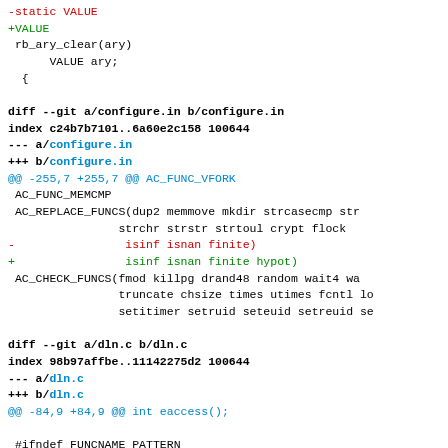diff output showing changes to configure.in and dln.c files